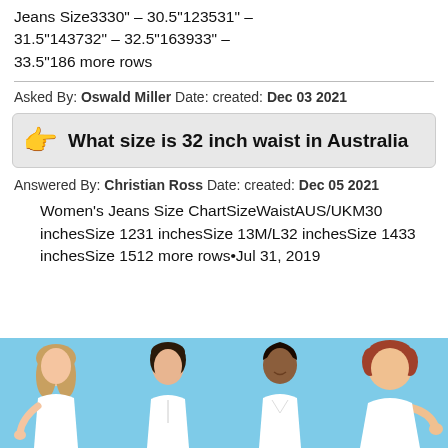Jeans Size3330" – 30.5"123531" – 31.5"143732" – 32.5"163933" – 33.5"186 more rows
Asked By: Oswald Miller Date: created: Dec 03 2021
What size is 32 inch waist in Australia
Answered By: Christian Ross Date: created: Dec 05 2021
Women's Jeans Size ChartSizeWaistAUS/UKM30 inchesSize 1231 inchesSize 13M/L32 inchesSize 1433 inchesSize 1512 more rows•Jul 31, 2019
[Figure (photo): Four women of different body types wearing white tops against a light blue background]